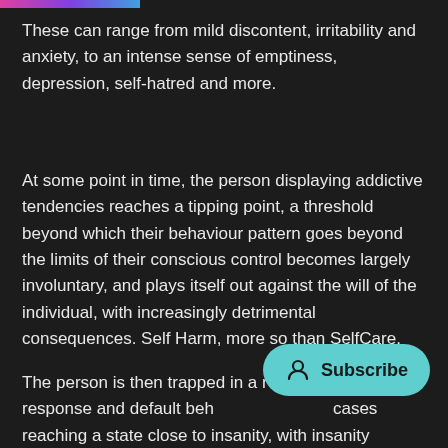These can range from mild discontent, irritability and anxiety, to an intense sense of emptiness, depression, self-hatred and more.
At some point in time, the person displaying addictive tendencies reaches a tipping point, a threshold beyond which their behaviour pattern goes beyond the limits of their conscious control becomes largely involuntary, and plays itself out against the will of the individual, with increasingly detrimental consequences. Self Harm, more so than SelfCare.
The person is then trapped in a repeti automatic response and default beh cases reaching a state close to insanity, with insanity defined here as repeating the same thing over and over